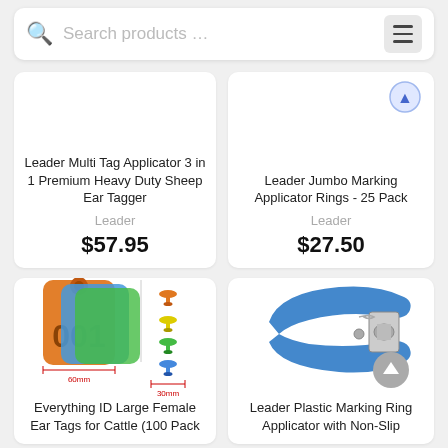Search products …
Leader Multi Tag Applicator 3 in 1 Premium Heavy Duty Sheep Ear Tagger
Leader
$57.95
Leader Jumbo Marking Applicator Rings - 25 Pack
Leader
$27.50
[Figure (photo): Colorful livestock ear tags showing 001 label and two sizes: 75mm and 30mm, with 60mm width measurement]
Everything ID Large Female Ear Tags for Cattle (100 Pack
[Figure (photo): Blue plastic marking ring applicator tool with metal spring mechanism]
Leader Plastic Marking Ring Applicator with Non-Slip